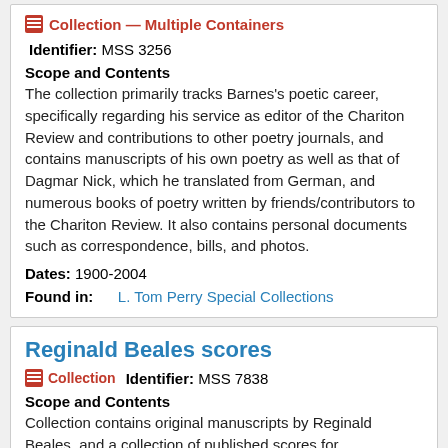Collection — Multiple Containers
Identifier: MSS 3256
Scope and Contents
The collection primarily tracks Barnes's poetic career, specifically regarding his service as editor of the Chariton Review and contributions to other poetry journals, and contains manuscripts of his own poetry as well as that of Dagmar Nick, which he translated from German, and numerous books of poetry written by friends/contributors to the Chariton Review. It also contains personal documents such as correspondence, bills, and photos.
Dates: 1900-2004
Found in: L. Tom Perry Special Collections
Reginald Beales scores
Collection   Identifier: MSS 7838
Scope and Contents
Collection contains original manuscripts by Reginald Beales, and a collection of published scores for